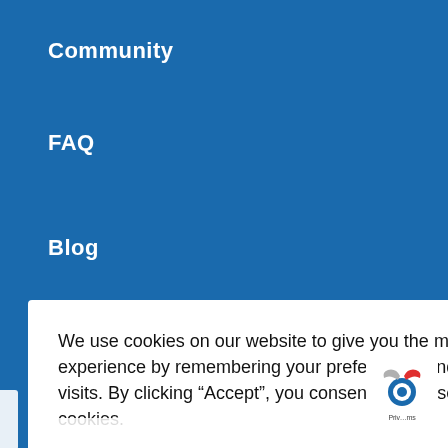Community
FAQ
Blog
We use cookies on our website to give you the most relevant experience by remembering your preferences and repeat visits. By clicking “Accept”, you consent to the use of ALL the cookies.
Do not sell my personal information.
Cookie Settings
Accept